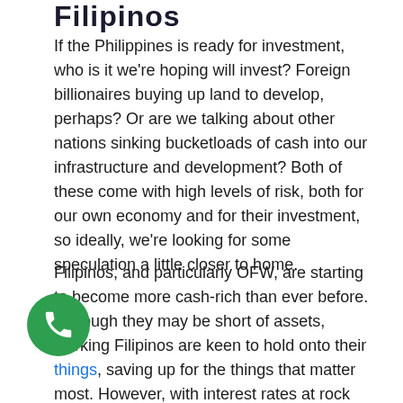Filipinos
If the Philippines is ready for investment, who is it we're hoping will invest? Foreign billionaires buying up land to develop, perhaps? Or are we talking about other nations sinking bucketloads of cash into our infrastructure and development? Both of these come with high levels of risk, both for our own economy and for their investment, so ideally, we're looking for some speculation a little closer to home.
Filipinos, and particularly OFW, are starting to become more cash-rich than ever before. Although they may be short of assets, working Filipinos are keen to hold onto their things, saving up for the things that matter most. However, with interest rates at rock bottom right now, leaving the money in